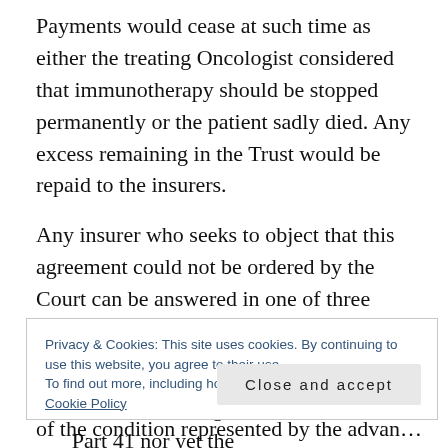Payments would cease at such time as either the treating Oncologist considered that immunotherapy should be stopped permanently or the patient sadly died. Any excess remaining in the Trust would be repaid to the insurers.
Any insurer who seeks to object that this agreement could not be ordered by the Court can be answered in one of three ways:
The agreement does not in fact offend either the Damages Act 1996 nor CPR Part 41 nor yet the
Privacy & Cookies: This site uses cookies. By continuing to use this website, you agree to their use.
To find out more, including how to control cookies, see here: Cookie Policy
of the condition represented by the advance of the